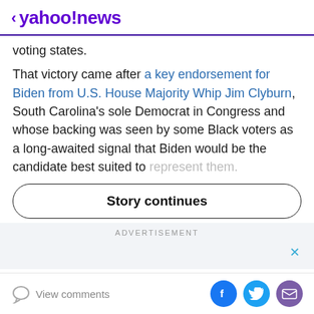< yahoo!news
voting states.
That victory came after a key endorsement for Biden from U.S. House Majority Whip Jim Clyburn, South Carolina's sole Democrat in Congress and whose backing was seen by some Black voters as a long-awaited signal that Biden would be the candidate best suited to represent them.
Story continues
ADVERTISEMENT
View comments